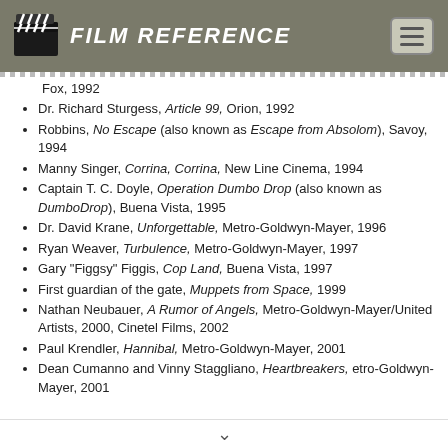FILM REFERENCE
Fox, 1992
Dr. Richard Sturgess, Article 99, Orion, 1992
Robbins, No Escape (also known as Escape from Absolom), Savoy, 1994
Manny Singer, Corrina, Corrina, New Line Cinema, 1994
Captain T. C. Doyle, Operation Dumbo Drop (also known as DumboDrop), Buena Vista, 1995
Dr. David Krane, Unforgettable, Metro-Goldwyn-Mayer, 1996
Ryan Weaver, Turbulence, Metro-Goldwyn-Mayer, 1997
Gary "Figgsy" Figgis, Cop Land, Buena Vista, 1997
First guardian of the gate, Muppets from Space, 1999
Nathan Neubauer, A Rumor of Angels, Metro-Goldwyn-Mayer/United Artists, 2000, Cinetel Films, 2002
Paul Krendler, Hannibal, Metro-Goldwyn-Mayer, 2001
Dean Cumanno and Vinny Staggliano, Heartbreakers, Metro-Goldwyn-Mayer, 2001